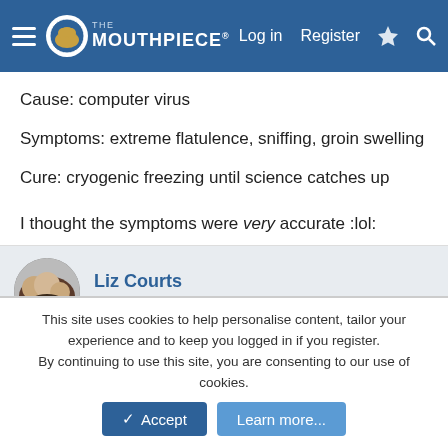The Mouthpiece | Log in | Register
Cause: computer virus
Symptoms: extreme flatulence, sniffing, groin swelling
Cure: cryogenic freezing until science catches up
I thought the symptoms were very accurate :lol:
Liz Courts
Active Member
Jun 7, 2004
#3
This site uses cookies to help personalise content, tailor your experience and to keep you logged in if you register.
By continuing to use this site, you are consenting to our use of cookies.